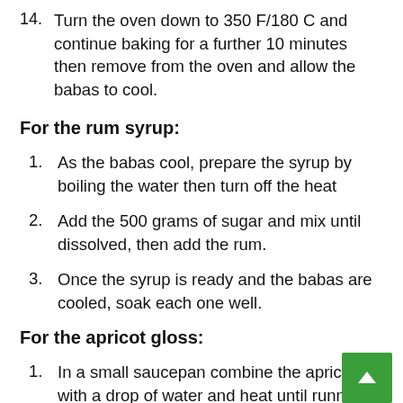14. Turn the oven down to 350 F/180 C and continue baking for a further 10 minutes then remove from the oven and allow the babas to cool.
For the rum syrup:
1. As the babas cool, prepare the syrup by boiling the water then turn off the heat
2. Add the 500 grams of sugar and mix until dissolved, then add the rum.
3. Once the syrup is ready and the babas are cooled, soak each one well.
For the apricot gloss:
1. In a small saucepan combine the apricot ja with a drop of water and heat until runny.